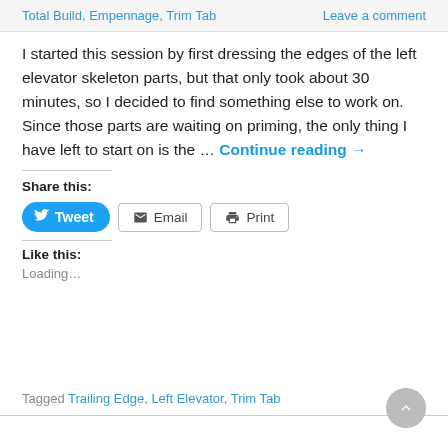Total Build, Empennage, Trim Tab | Leave a comment
I started this session by first dressing the edges of the left elevator skeleton parts, but that only took about 30 minutes, so I decided to find something else to work on.  Since those parts are waiting on priming, the only thing I have left to start on is the … Continue reading →
Share this:
Tweet | Email | Print
Like this:
Loading…
Tagged Trailing Edge, Left Elevator, Trim Tab